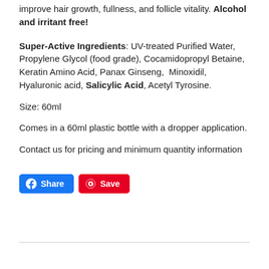improve hair growth, fullness, and follicle vitality. Alcohol and irritant free!
Super-Active Ingredients: UV-treated Purified Water, Propylene Glycol (food grade), Cocamidopropyl Betaine, Keratin Amino Acid, Panax Ginseng,  Minoxidil, Hyaluronic acid, Salicylic Acid, Acetyl Tyrosine.
Size: 60ml
Comes in a 60ml plastic bottle with a dropper application.
Contact us for pricing and minimum quantity information
[Figure (other): Social share buttons: Facebook Share button (blue) and Pinterest Save button (red)]